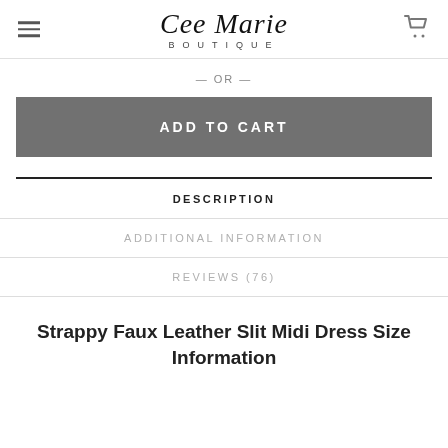Cee Marie Boutique
— OR —
ADD TO CART
DESCRIPTION
ADDITIONAL INFORMATION
REVIEWS (76)
Strappy Faux Leather Slit Midi Dress Size Information